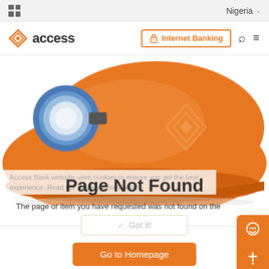Nigeria
[Figure (logo): Access Bank logo with orange diamond icon and 'access' text wordmark]
Internet Banking
[Figure (photo): Orange construction hard hat with blue and white lamp attachment, featuring Access Bank diamond logo embossed on the side]
Access Bank website uses cookies to ensure you get the best experience. Read our Privacy Policy here
Page Not Found
The page or item you have requested was not found on the server.
Got it!
Go to Homepage